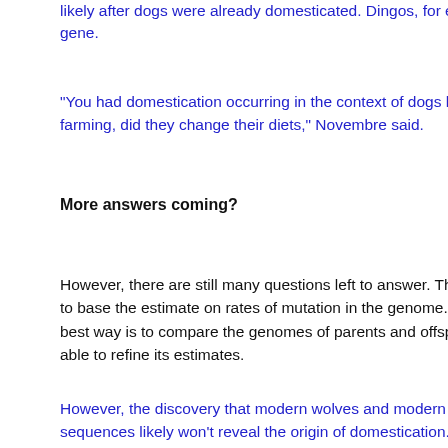likely after dogs were already domesticated. Dingos, for example, lack the gene.
"You had domestication occurring in the context of dogs hanging around farming, did they change their diets," Novembre said.
More answers coming?
However, there are still many questions left to answer. The researchers had to base the estimate on rates of mutation in the genome. Mutation rate — the best way is to compare the genomes of parents and offspring, — able to refine its estimates.
However, the discovery that modern wolves and modern dogs sequences likely won't reveal the origin of domestication. To a